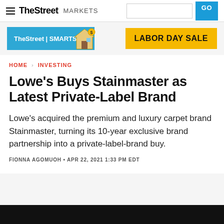TheStreet MARKETS
[Figure (logo): TheStreet | SMARTS banner with house icon illustration]
[Figure (other): LABOR DAY SALE yellow promotional button]
HOME > INVESTING
Lowe's Buys Stainmaster as Latest Private-Label Brand
Lowe's acquired the premium and luxury carpet brand Stainmaster, turning its 10-year exclusive brand partnership into a private-label-brand buy.
FIONNA AGOMUOH • APR 22, 2021 1:33 PM EDT
[Figure (photo): Dark/black image strip at the bottom of the page]